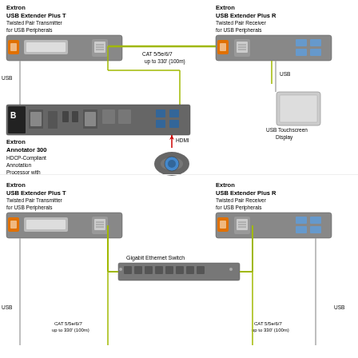[Figure (schematic): Top diagram: Extron USB Extender Plus T (Twisted Pair Transmitter for USB Peripherals) connected via CAT 5/5e/6/7 up to 330' (100m) to Extron USB Extender Plus R (Twisted Pair Receiver for USB Peripherals). USB connections run down to an Extron Annotator 300 (HDCP-Compliant Annotation Processor with DTP Extension) which connects via HDMI to a Projector/Display. The USB Extender Plus R also connects via USB to a USB Touchscreen Display.]
[Figure (schematic): Bottom diagram: Extron USB Extender Plus T (Twisted Pair Transmitter for USB Peripherals) connected via CAT 5/5e/6/7 up to 330' (100m) through a Gigabit Ethernet Switch to Extron USB Extender Plus R (Twisted Pair Receiver for USB Peripherals). Both sides also have USB connections going downward.]